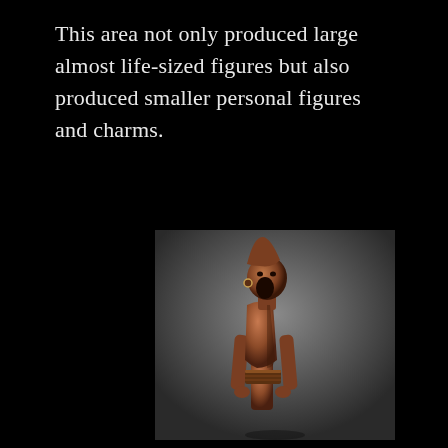This area not only produced large almost life-sized figures but also produced smaller personal figures and charms.
[Figure (photo): A wooden African figurine with an elongated conical head, open mouth, and arms hanging at sides, photographed against a grey gradient background.]